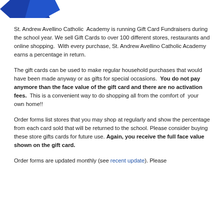[Figure (logo): Partial blue diamond/shield logo at top left corner]
St. Andrew Avellino Catholic  Academy is running Gift Card Fundraisers during the school year. We sell Gift Cards to over 100 different stores, restaurants and online shopping.  With every purchase, St. Andrew Avellino Catholic Academy earns a percentage in return.
The gift cards can be used to make regular household purchases that would have been made anyway or as gifts for special occasions.  You do not pay anymore than the face value of the gift card and there are no activation fees.  This is a convenient way to do shopping all from the comfort of  your own home!!
Order forms list stores that you may shop at regularly and show the percentage from each card sold that will be returned to the school. Please consider buying these store gifts cards for future use. Again, you receive the full face value shown on the gift card.
Order forms are updated monthly (see recent update). Please